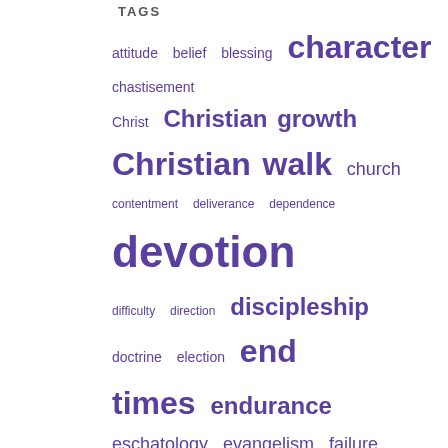TAGS
[Figure (infographic): Tag cloud with religious/spiritual topics in purple, varying font sizes indicating frequency. Tags include: attitude, belief, blessing, character, chastisement, Christ, Christian growth, Christian walk, church, contentment, deliverance, dependence, devotion, difficulty, direction, discipleship, doctrine, election, end times, endurance, eschatology, evangelism, failure, faith, faithfulness, false doctrine, false teachers, family, fear, fellowship, godliness, grace, growth, guidance, hardship, heart, Holy Spirit, honor, hope, humility, inspiration, integrity, joy, knowing God, Lord's return, maturity, ministry, Noah's ark, obedience, peace, persecution, personal devotion, praise, prayer, priorities, relationship, religion, responsibility, sacrifice, salvation, service, spirituality, submission, surrender, testimony, trial]